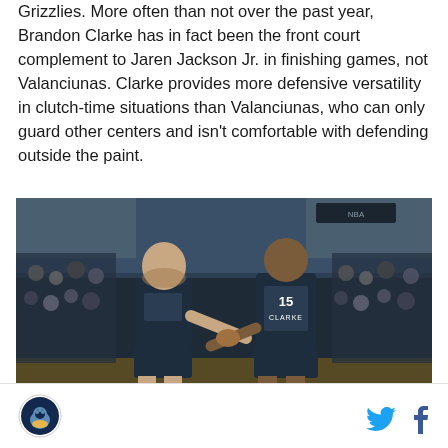Grizzlies. More often than not over the past year, Brandon Clarke has in fact been the front court complement to Jaren Jackson Jr. in finishing games, not Valanciunas. Clarke provides more defensive versatility in clutch-time situations than Valanciunas, who can only guard other centers and isn't comfortable with defending outside the paint.
[Figure (photo): Two Memphis Grizzlies basketball players on the court shaking hands/fist bumping. One player (facing away, #15 CLARKE) and another player facing him, both in dark navy Grizzlies uniforms, with a packed arena crowd in the background.]
Memphis Grizzlies logo | Twitter icon | Facebook icon